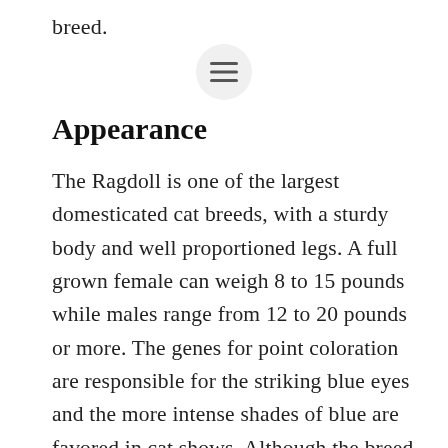breed.
[Figure (other): Hamburger menu icon button (three horizontal lines) in a circular grey button]
Appearance
The Ragdoll is one of the largest domesticated cat breeds, with a sturdy body and well proportioned legs. A full grown female can weigh 8 to 15 pounds while males range from 12 to 20 pounds or more. The genes for point coloration are responsible for the striking blue eyes and the more intense shades of blue are favored in cat shows. Although the breed has a silky coat, it consists of mostly long hairs with a soft texture and is easy to groom .The Ragdoll comes in the four traditional pointed colors: seal, chocolate, blue and lilac; and three divisions: solid or colorpoint, particolor mitted